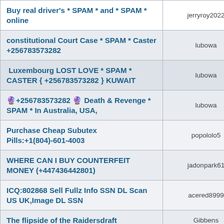| Title | User |
| --- | --- |
| Buy real driver's * SPAM * and * SPAM * online | jerryroy2022 |
| constitutional Court Case * SPAM * Caster +256783573282 | lubowa |
| Luxembourg LOST LOVE * SPAM * CASTER { +256783573282 } KUWAIT | lubowa |
| 🔮+256783573282 🔮 Death & Revenge * SPAM * In Australia, USA, | lubowa |
| Purchase Cheap Subutex Pills:+1(804)-601-4003 | popololo5 |
| WHERE CAN I BUY COUNTERFEIT MONEY (+447436442801) | jadonpark61 |
| ICQ:802868 Sell Fullz Info SSN DL Scan US UK,Image DL SSN | acered8999 |
| The flipside of the Raidersdraft | Gibbens |